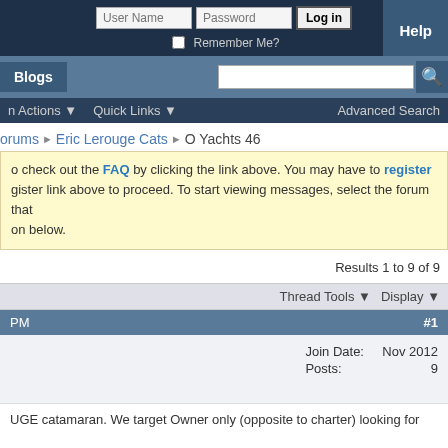User Name | Password | Log in | Help | Remember Me?
Blogs | [search box] | Advanced Search
n Actions ▼  Quick Links ▼  Advanced Search
Forums > Eric Lerouge Cats > O Yachts 46
o check out the FAQ by clicking the link above. You may have to register
ugister link above to proceed. To start viewing messages, select the forum that
on below.
Results 1 to 9 of 9
Thread Tools ▼   Display ▼
PM   #1
| Join Date: | Nov 2012 | Posts: | 9 |
| --- | --- | --- | --- |
| Join Date: | Nov 2012 |
| Posts: | 9 |
UGE catamaran. We target Owner only (opposite to charter) looking for